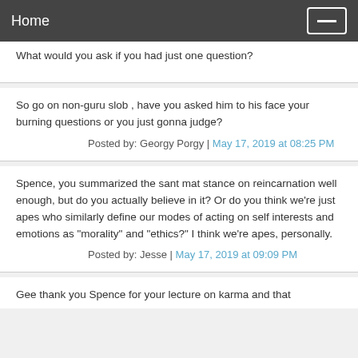Home
What would you ask if you had just one question?
So go on non-guru slob , have you asked him to his face your burning questions or you just gonna judge?
Posted by: Georgy Porgy | May 17, 2019 at 08:25 PM
Spence, you summarized the sant mat stance on reincarnation well enough, but do you actually believe in it? Or do you think we're just apes who similarly define our modes of acting on self interests and emotions as "morality" and "ethics?" I think we're apes, personally.
Posted by: Jesse | May 17, 2019 at 09:09 PM
Gee thank you Spence for your lecture on karma and that